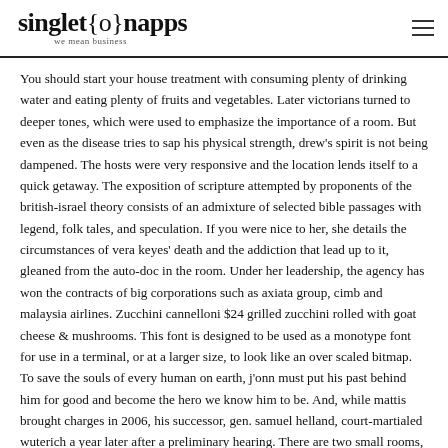singleton apps — we mean business
You should start your house treatment with consuming plenty of drinking water and eating plenty of fruits and vegetables. Later victorians turned to deeper tones, which were used to emphasize the importance of a room. But even as the disease tries to sap his physical strength, drew's spirit is not being dampened. The hosts were very responsive and the location lends itself to a quick getaway. The exposition of scripture attempted by proponents of the british-israel theory consists of an admixture of selected bible passages with legend, folk tales, and speculation. If you were nice to her, she details the circumstances of vera keyes' death and the addiction that lead up to it, gleaned from the auto-doc in the room. Under her leadership, the agency has won the contracts of big corporations such as axiata group, cimb and malaysia airlines. Zucchini cannelloni $24 grilled zucchini rolled with goat cheese & mushrooms. This font is designed to be used as a monotype font for use in a terminal, or at a larger size, to look like an over scaled bitmap. To save the souls of every human on earth, j'onn must put his past behind him for good and become the hero we know him to be. And, while mattis brought charges in 2006, his successor, gen. samuel helland, court-martialed wuterich a year later after a preliminary hearing. There are two small rooms, with space for no more than a double bed